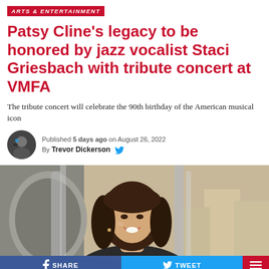ARTS & ENTERTAINMENT
Patsy Cline's legacy to be honored by jazz vocalist Staci Griesbach with tribute concert at VMFA
The tribute concert will celebrate the 90th birthday of the American musical icon
Published 5 days ago on August 26, 2022
By Trevor Dickerson
[Figure (photo): Photo of a smiling woman with dark hair posing near a vintage car mirror, wearing a dark jacket]
SHARE
TWEET